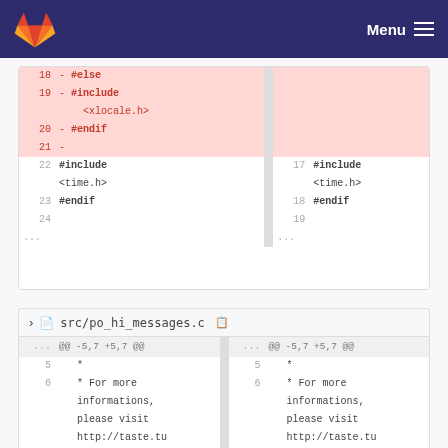Menu
[Figure (screenshot): GitLab code diff view showing removed lines 18-21 (#else, #include <xlocale.h>, #endif, -) on the left side, and unchanged lines 22-24 (#include <time.h>, #endif) on both sides with line numbers 17-19 on right]
src/po_hi_messages.c
[Figure (screenshot): GitLab diff for src/po_hi_messages.c showing @@ -5,7 +5,7 @@ hunk header, lines 5-6 with * and * For more informations, please visit http://taste.tuxfamily.org/wik on both sides]